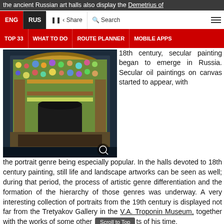the ancient Russian art halls also display the Demetrius of Golden Domed Monastery in Kiev.
ENG | RUS | Share | Search
TOP 33 | WHAT TO DO | ROUTE PLANNER | MOBILE APPS
[Figure (photo): Decorative mosaic architectural structure displayed in a museum hall, featuring ornate colorful tile work with floral and animal motifs, arched doorways, photographed against a dark background.]
18th century, secular painting began to emerge in Russia. Secular oil paintings on canvas started to appear, with the portrait genre being especially popular. In the halls devoted to 18th century painting, still life and landscape artworks can be seen as well; during that period, the process of artistic genre differentiation and the formation of the hierarchy of those genres was underway. A very interesting collection of portraits from the 19th century is displayed not far from the Tretyakov Gallery in the V.A. Troponin Museum, together with the works of some other artists of his time.